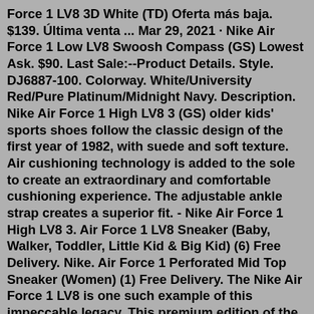Force 1 LV8 3D White (TD) Oferta más baja. $139. Última venta ... Mar 29, 2021 · Nike Air Force 1 Low LV8 Swoosh Compass (GS) Lowest Ask. $90. Last Sale:--Product Details. Style. DJ6887-100. Colorway. White/University Red/Pure Platinum/Midnight Navy. Description. Nike Air Force 1 High LV8 3 (GS) older kids' sports shoes follow the classic design of the first year of 1982, with suede and soft texture. Air cushioning technology is added to the sole to create an extraordinary and comfortable cushioning experience. The adjustable ankle strap creates a superior fit. - Nike Air Force 1 High LV8 3. Air Force 1 LV8 Sneaker (Baby, Walker, Toddler, Little Kid & Big Kid) (6) Free Delivery. Nike. Air Force 1 Perforated Mid Top Sneaker (Women) (1) Free Delivery. The Nike Air Force 1 LV8 is one such example of this impeccable legacy. This premium edition of the original Air Force 1 has been honored with a plethora of iconic colorways, updated versions, and alternative ankle heights, although the low undoubtedly remains the most popular. And also dots